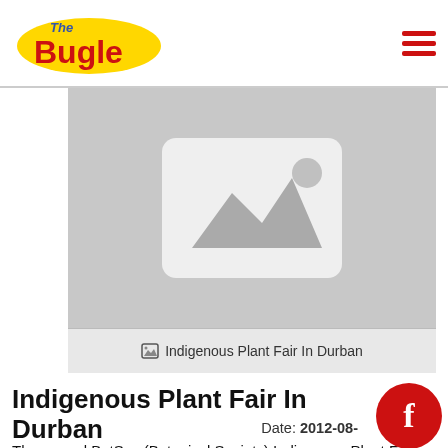The Bugle
[Figure (photo): Placeholder image area for Indigenous Plant Fair In Durban article]
Indigenous Plant Fair In Durban
Indigenous Plant Fair In Durban
Date: 2012-08-
The annual BotSoc (Botanical Society) Indigenous Plant Fair takes place on 1 & 2 September 2012, from 9 am - 4 pm each day, at the Munies Sports Field, John Zikhali Road (Sydenham Road) in Durban, just below the Durban Botanic